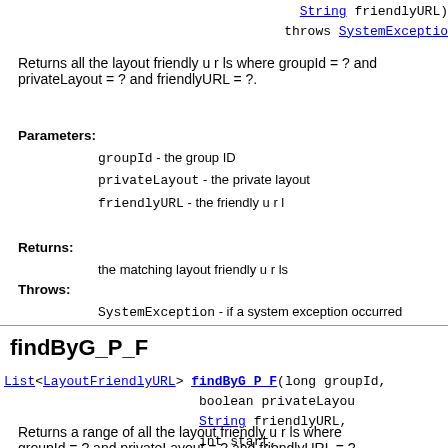String friendlyURL)
 throws SystemException
Returns all the layout friendly u r ls where groupId = ? and privateLayout = ? and friendlyURL = ?.
Parameters:
  groupId - the group ID
  privateLayout - the private layout
  friendlyURL - the friendly u r l
Returns:
  the matching layout friendly u r ls
Throws:
  SystemException - if a system exception occurred
findByG_P_F
List<LayoutFriendlyURL> findByG_P_F(long groupId,
  boolean privateLayout,
  String friendlyURL,
  int start,
  int end)
 throws SystemException
Returns a range of all the layout friendly u r ls where groupId = ? and privateLayout = ? and friendlyURL = ?.